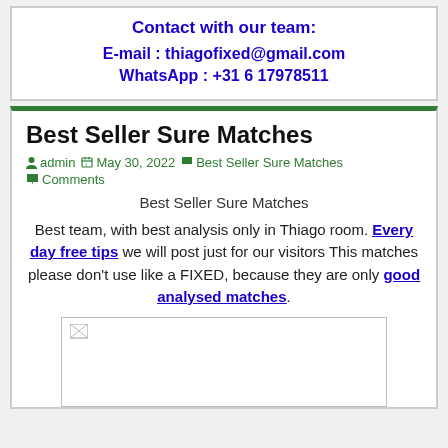Contact with our team:
E-mail : thiagofixed@gmail.com
WhatsApp : +31 6 17978511
Best Seller Sure Matches
admin  May 30, 2022  Best Seller Sure Matches  Comments
Best Seller Sure Matches
Best team, with best analysis only in Thiago room. Every day free tips we will post just for our visitors This matches please don't use like a FIXED, because they are only good analysed matches.
[Figure (photo): Broken image placeholder (white rectangle with small broken image icon in top-left corner)]